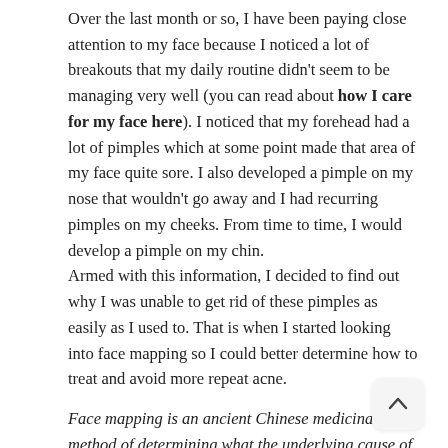Over the last month or so, I have been paying close attention to my face because I noticed a lot of breakouts that my daily routine didn't seem to be managing very well (you can read about how I care for my face here). I noticed that my forehead had a lot of pimples which at some point made that area of my face quite sore. I also developed a pimple on my nose that wouldn't go away and I had recurring pimples on my cheeks. From time to time, I would develop a pimple on my chin.
Armed with this information, I decided to find out why I was unable to get rid of these pimples as easily as I used to. That is when I started looking into face mapping so I could better determine how to treat and avoid more repeat acne.
Face mapping is an ancient Chinese medicinal method of determining what the underlying cause of flare-ups or break outs on your face could be.